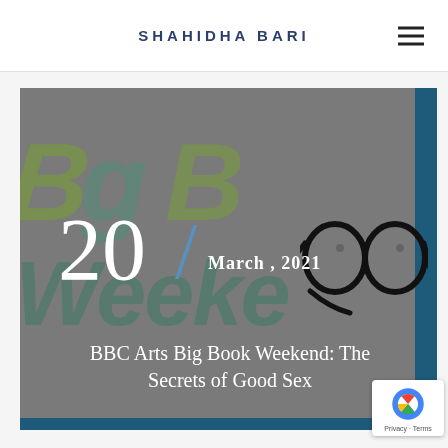SHAHIDHA BARI
[Figure (illustration): BBC Arts Big Book Weekend promotional card with grey background, stylized colorful lettering 'Big Book Weekend' in teal and olive green, large white number '20', a blue slash, date 'March, 2021', black glasses illustration, article title 'BBC Arts Big Book Weekend: The Secrets of Good Sex', and 'BBC ARTS ONLINE' label with red underline]
20
March , 2021
BBC Arts Big Book Weekend: The Secrets of Good Sex
BBC ARTS ONLINE